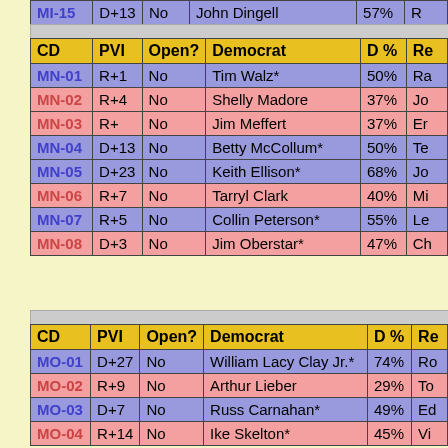| CD | PVI | Open? | Democrat | D % | Re |
| --- | --- | --- | --- | --- | --- |
| MI-15 | D+13 | No | John Dingell | 57% | R… |
| MN-01 | R+1 | No | Tim Walz* | 50% | Ra |
| MN-02 | R+4 | No | Shelly Madore | 37% | Jo |
| MN-03 | R+ | No | Jim Meffert | 37% | Er |
| MN-04 | D+13 | No | Betty McCollum* | 50% | Te |
| MN-05 | D+23 | No | Keith Ellison* | 68% | Jo |
| MN-06 | R+7 | No | Tarryl Clark | 40% | Mi |
| MN-07 | R+5 | No | Collin Peterson* | 55% | Le |
| MN-08 | D+3 | No | Jim Oberstar* | 47% | Ch |
| CD | PVI | Open? | Democrat | D % | Re |
| --- | --- | --- | --- | --- | --- |
| MO-01 | D+27 | No | William Lacy Clay Jr.* | 74% | Ro |
| MO-02 | R+9 | No | Arthur Lieber | 29% | To |
| MO-03 | D+7 | No | Russ Carnahan* | 49% | Ed |
| MO-04 | R+14 | No | Ike Skelton* | 45% | Vi |